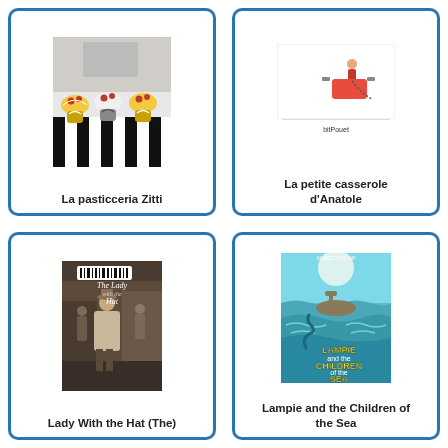[Figure (illustration): Book cover of La pasticceria Zitti showing decorated cupcakes in black and white striped pattern]
La pasticceria Zitti
[Figure (illustration): Book cover of La petite casserole d'Anatole showing a small figure with a pot]
La petite casserole d'Anatole
[Figure (illustration): Book cover of The Lady with the Hat showing a man in street scene with barcode sticker]
Lady With the Hat (The)
[Figure (illustration): Book cover of Lampie and the Children of the Sea by Annet Schaap showing underwater scene in blue-green tones]
Lampie and the Children of the Sea